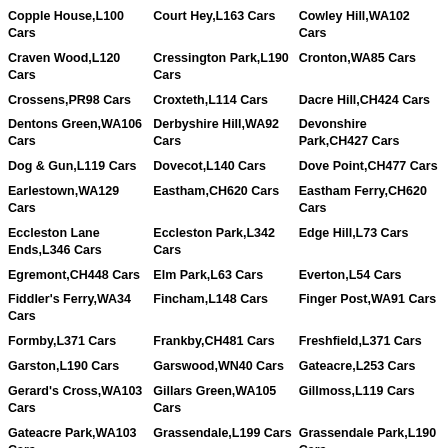Copple House,L100 Cars
Court Hey,L163 Cars
Cowley Hill,WA102 Cars
Craven Wood,L120 Cars
Cressington Park,L190 Cars
Cronton,WA85 Cars
Crossens,PR98 Cars
Croxteth,L114 Cars
Dacre Hill,CH424 Cars
Dentons Green,WA106 Cars
Derbyshire Hill,WA92 Cars
Devonshire Park,CH427 Cars
Dog & Gun,L119 Cars
Dovecot,L140 Cars
Dove Point,CH477 Cars
Earlestown,WA129 Cars
Eastham,CH620 Cars
Eastham Ferry,CH620 Cars
Eccleston Lane Ends,L346 Cars
Eccleston Park,L342 Cars
Edge Hill,L73 Cars
Egremont,CH448 Cars
Elm Park,L63 Cars
Everton,L54 Cars
Fiddler's Ferry,WA34 Cars
Fincham,L148 Cars
Finger Post,WA91 Cars
Formby,L371 Cars
Frankby,CH481 Cars
Freshfield,L371 Cars
Garston,L190 Cars
Garswood,WN40 Cars
Gateacre,L253 Cars
Gerard's Cross,WA103 Cars
Gillars Green,WA105 Cars
Gillmoss,L119 Cars
Gateacre Park,WA103 Cars
Grassendale,L199 Cars
Grassendale Park,L190 Cars